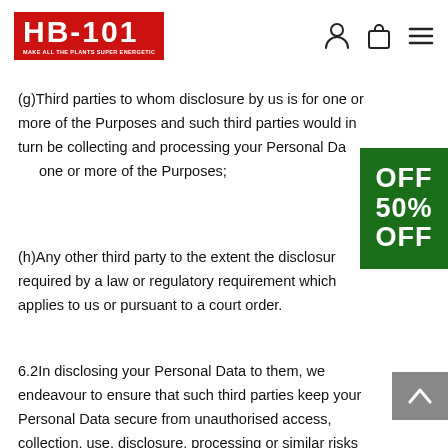[Figure (logo): HB-101 logo with red background, white text. Tagline: MAKE ALL THE PLANTS SUPER ENERGETIC]
(g)Third parties to whom disclosure by us is for one or more of the Purposes and such third parties would in turn be collecting and processing your Personal Data for one or more of the Purposes;
(h)Any other third party to the extent the disclosure is required by a law or regulatory requirement which applies to us or pursuant to a court order.
6.2In disclosing your Personal Data to them, we endeavour to ensure that such third parties keep your Personal Data secure from unauthorised access, collection, use, disclosure, processing or similar risks
[Figure (infographic): Green badge showing 50% OFF]